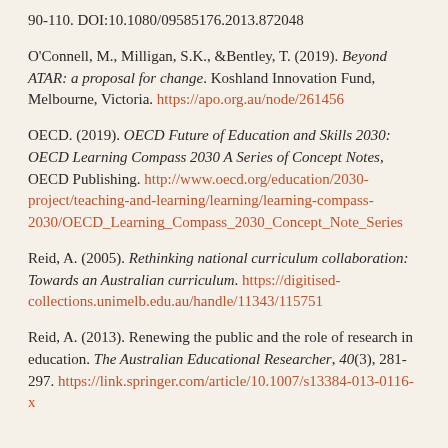90-110. DOI:10.1080/09585176.2013.872048
O'Connell, M., Milligan, S.K., &Bentley, T. (2019). Beyond ATAR: a proposal for change. Koshland Innovation Fund, Melbourne, Victoria. https://apo.org.au/node/261456
OECD. (2019). OECD Future of Education and Skills 2030: OECD Learning Compass 2030 A Series of Concept Notes, OECD Publishing. http://www.oecd.org/education/2030-project/teaching-and-learning/learning/learning-compass-2030/OECD_Learning_Compass_2030_Concept_Note_Series
Reid, A. (2005). Rethinking national curriculum collaboration: Towards an Australian curriculum. https://digitised-collections.unimelb.edu.au/handle/11343/115751
Reid, A. (2013). Renewing the public and the role of research in education. The Australian Educational Researcher, 40(3), 281-297. https://link.springer.com/article/10.1007/s13384-013-0116-x